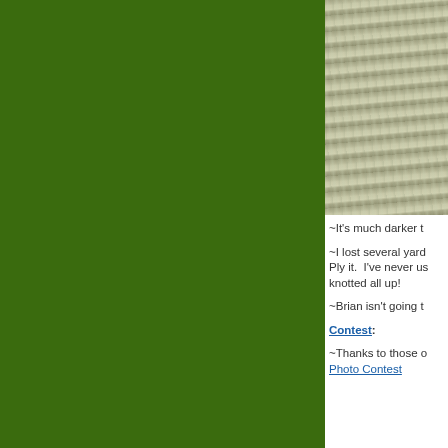[Figure (photo): Photograph of tree bark with mottled gray and white coloring, partially visible on right side of page]
~It's much darker t
~I lost several yard Ply it.  I've never us knotted all up!
~Brian isn't going t
Contest:
~Thanks to those o Photo Contest